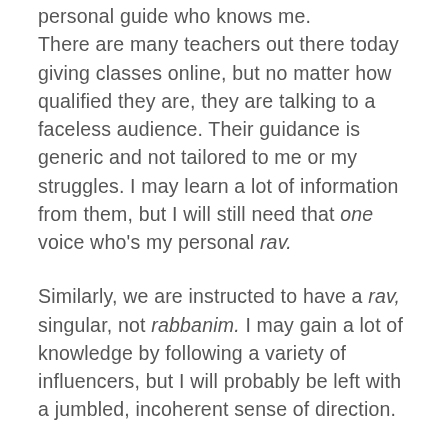personal guide who knows me. There are many teachers out there today giving classes online, but no matter how qualified they are, they are talking to a faceless audience. Their guidance is generic and not tailored to me or my struggles. I may learn a lot of information from them, but I will still need that one voice who's my personal rav.
Similarly, we are instructed to have a rav, singular, not rabbanim. I may gain a lot of knowledge by following a variety of influencers, but I will probably be left with a jumbled, incoherent sense of direction.
I was unworthy but I was blessed,